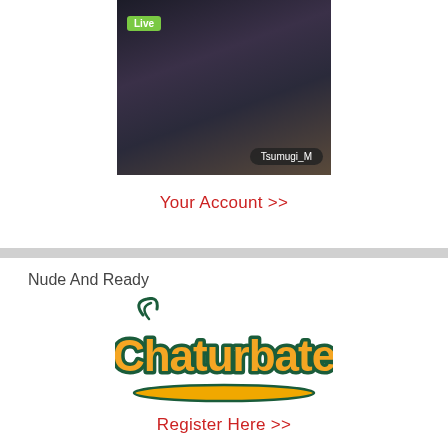[Figure (photo): Live stream thumbnail of a person in costume with 'Live' badge and username 'Tsumugi_M' overlay]
Your Account >>
Nude And Ready
[Figure (logo): Chaturbate logo in orange and teal script lettering]
Register Here >>